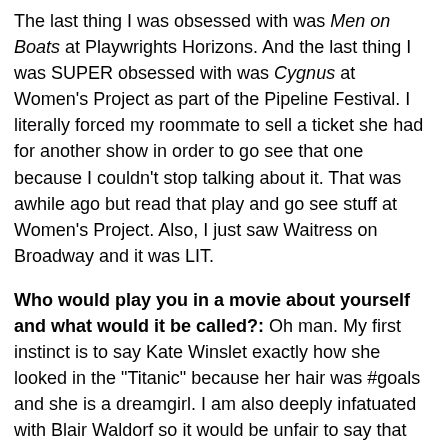The last thing I was obsessed with was Men on Boats at Playwrights Horizons. And the last thing I was SUPER obsessed with was Cygnus at Women's Project as part of the Pipeline Festival. I literally forced my roommate to sell a ticket she had for another show in order to go see that one because I couldn't stop talking about it. That was awhile ago but read that play and go see stuff at Women's Project. Also, I just saw Waitress on Broadway and it was LIT.
Who would play you in a movie about yourself and what would it be called?: Oh man. My first instinct is to say Kate Winslet exactly how she looked in the "Titanic" because her hair was #goals and she is a dreamgirl. I am also deeply infatuated with Blair Waldorf so it would be unfair to say that Leighton Meester and Kate wouldn't have to read it out to see who was the better fit. It would probably be called.. "The Little Engine That Could?" Idk, would have to consult with the team on that one.
If you could go back in time and see any play or musical you missed, what would it be?: I think it would be an original performance of Shakespeare's work. Twelfth Night is